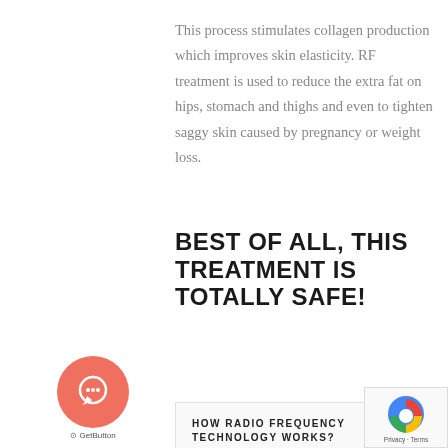This process stimulates collagen production which improves skin elasticity. RF treatment is used to reduce the extra fat on hips, stomach and thighs and even to tighten saggy skin caused by pregnancy or weight loss.
BEST OF ALL, THIS TREATMENT IS TOTALLY SAFE!
HOW RADIO FREQUENCY TECHNOLOGY WORKS?
Radio frequency devices used in the skin tightening treatment use radio waves so as to make water molecules